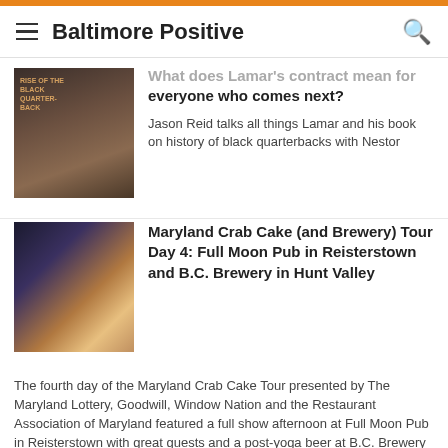Baltimore Positive
What does Lamar's contract mean for everyone who comes next?
Jason Reid talks all things Lamar and his book on history of black quarterbacks with Nestor
Maryland Crab Cake (and Brewery) Tour Day 4: Full Moon Pub in Reisterstown and B.C. Brewery in Hunt Valley
The fourth day of the Maryland Crab Cake Tour presented by The Maryland Lottery, Goodwill, Window Nation and the Restaurant Association of Maryland featured a full show afternoon at Full Moon Pub in Reisterstown with great guests and a post-yoga beer at B.C. Brewery in Hunt Valley on a stormy night of open mic.